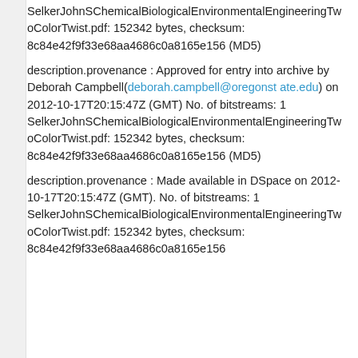SelkerJohnSChemicalBiologicalEnvironmentalEngineeringTwoColorTwist.pdf: 152342 bytes, checksum: 8c84e42f9f33e68aa4686c0a8165e156 (MD5)
description.provenance : Approved for entry into archive by Deborah Campbell(deborah.campbell@oregonstate.edu) on 2012-10-17T20:15:47Z (GMT) No. of bitstreams: 1 SelkerJohnSChemicalBiologicalEnvironmentalEngineeringTwoColorTwist.pdf: 152342 bytes, checksum: 8c84e42f9f33e68aa4686c0a8165e156 (MD5)
description.provenance : Made available in DSpace on 2012-10-17T20:15:47Z (GMT). No. of bitstreams: 1 SelkerJohnSChemicalBiologicalEnvironmentalEngineeringTwoColorTwist.pdf: 152342 bytes, checksum: 8c84e42f9f33e68aa4686c0a8165e156